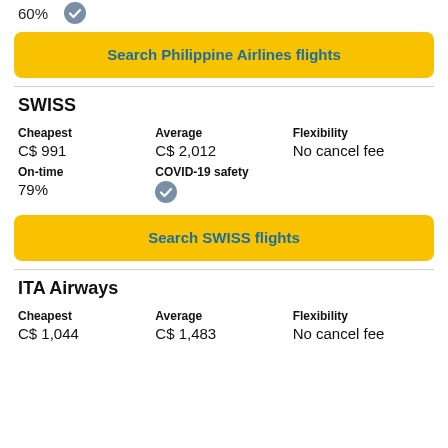60%
[checkmark icon]
Search Philippine Airlines flights
SWISS
| Cheapest | Average | Flexibility |
| --- | --- | --- |
| C$ 991 | C$ 2,012 | No cancel fee |
| On-time | COVID-19 safety |
| --- | --- |
| 79% | [checkmark icon] |
Search SWISS flights
ITA Airways
| Cheapest | Average | Flexibility |
| --- | --- | --- |
| C$ 1,044 | C$ 1,483 | No cancel fee |